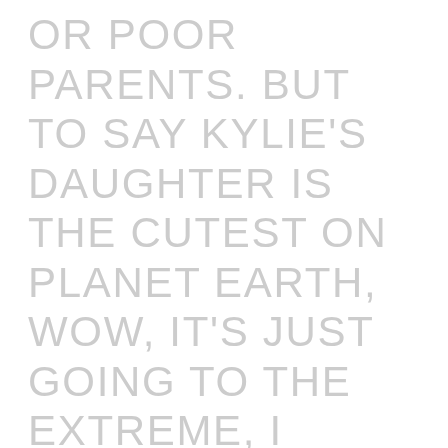OR POOR PARENTS. BUT TO SAY KYLIE'S DAUGHTER IS THE CUTEST ON PLANET EARTH, WOW, IT'S JUST GOING TO THE EXTREME, I DON'T KNOW THE PLANET THAT THE WRITER OF THAT ARTICLE LIVES ON. OH MAYBE IT'S COCOON PLANET HOLLYWOOD. SO WHERE DO YOU PLACE DREAM KARDASHIAN, WHO IS